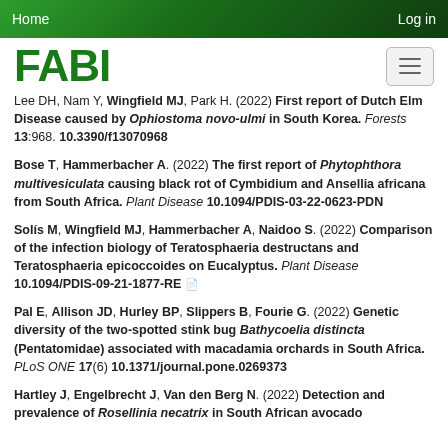Home   Log in
[Figure (logo): FABI logo in green bold text with hamburger menu button]
Lee DH, Nam Y, Wingfield MJ, Park H. (2022) First report of Dutch Elm Disease caused by Ophiostoma novo-ulmi in South Korea. Forests 13:968. 10.3390/f13070968
Bose T, Hammerbacher A. (2022) The first report of Phytophthora multivesiculata causing black rot of Cymbidium and Ansellia africana from South Africa. Plant Disease 10.1094/PDIS-03-22-0623-PDN
Solís M, Wingfield MJ, Hammerbacher A, Naidoo S. (2022) Comparison of the infection biology of Teratosphaeria destructans and Teratosphaeria epicoccoides on Eucalyptus. Plant Disease 10.1094/PDIS-09-21-1877-RE
Pal E, Allison JD, Hurley BP, Slippers B, Fourie G. (2022) Genetic diversity of the two-spotted stink bug Bathycoelia distincta (Pentatomidae) associated with macadamia orchards in South Africa. PLoS ONE 17(6) 10.1371/journal.pone.0269373
Hartley J, Engelbrecht J, Van den Berg N. (2022) Detection and prevalence of Rosellinia necatrix in South African avocado